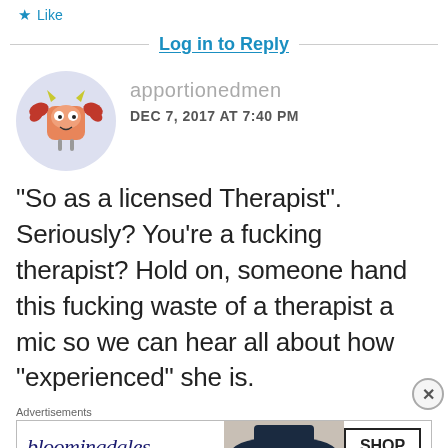★ Like
Log in to Reply
[Figure (illustration): Cartoon avatar of a pink/orange creature with red crab claws, yellow horns, white eyes, and thin legs, inside a light purple/blue circle]
apportionedmen
DEC 7, 2017 AT 7:40 PM
“So as a licensed Therapist”. Seriously? You’re a fucking therapist? Hold on, someone hand this fucking waste of a therapist a mic so we can hear all about how “experienced” she is.
Advertisements
[Figure (screenshot): Bloomingdale's advertisement banner reading 'View Today's Top Deals!' with a woman in a hat and a 'SHOP NOW >' button]